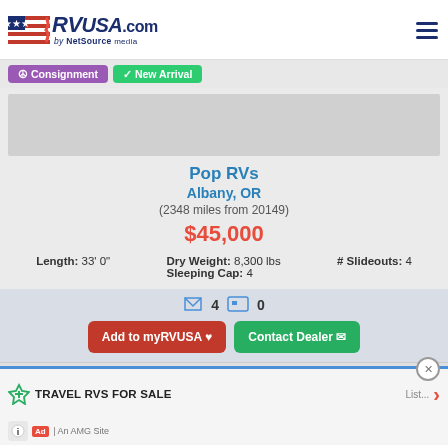RVUSA.com by NetSource media
Consignment | New Arrival
Pop RVs
Albany, OR
(2348 miles from 20149)
$45,000
Length: 33' 0"  Dry Weight: 8,300 lbs  # Slideouts: 4  Sleeping Cap: 4
4  0
Add to myRVUSA ♥  Contact Dealer ✉
TRAVEL RVS FOR SALE